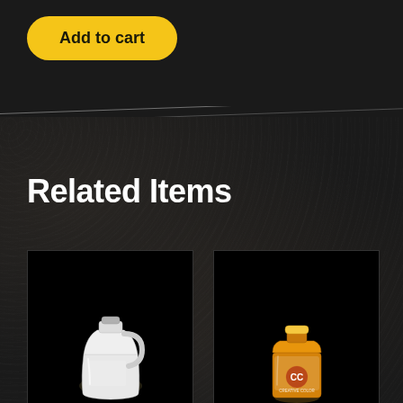Add to cart
Related Items
[Figure (photo): White plastic gallon jug against dark background]
[Figure (photo): Yellow/orange bottle with Creative Color logo against dark background]